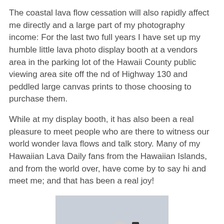The coastal lava flow cessation will also rapidly affect me directly and a large part of my photography income: For the last two full years I have set up my humble little lava photo display booth at a vendors area in the parking lot of the Hawaii County public viewing area site off the nd of Highway 130 and peddled large canvas prints to those choosing to purchase them.
While at my display booth, it has also been a real pleasure to meet people who are there to witness our world wonder lava flows and talk story. Many of my Hawaiian Lava Daily fans from the Hawaiian Islands, and from the world over, have come by to say hi and meet me; and that has been a real joy!
[Figure (photo): A photographer carrying camera equipment on a tripod/monopod over his shoulder, wearing a gray shirt and red strap, with a backpack, set against a light blue-gray sky background.]